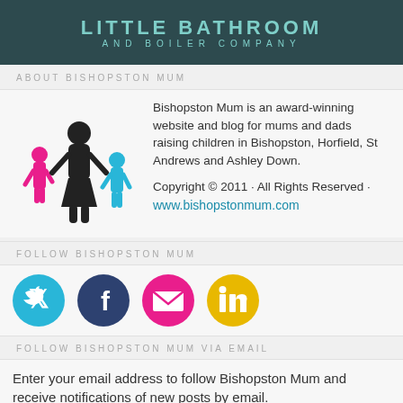LITTLE BATHROOM AND BOILER COMPANY
ABOUT BISHOPSTON MUM
[Figure (illustration): Silhouette illustration of a mother, child, and toddler in pink and blue/black]
Bishopston Mum is an award-winning website and blog for mums and dads raising children in Bishopston, Horfield, St Andrews and Ashley Down.

Copyright © 2011 · All Rights Reserved · www.bishopstonmum.com
FOLLOW BISHOPSTON MUM
[Figure (infographic): Four social media icons: Twitter (blue), Facebook (dark blue), Email (pink/magenta), LinkedIn (yellow)]
FOLLOW BISHOPSTON MUM VIA EMAIL
Enter your email address to follow Bishopston Mum and receive notifications of new posts by email.
Email Address